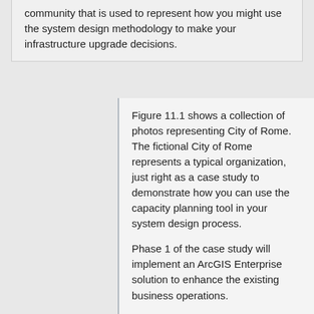community that is used to represent how you might use the system design methodology to make your infrastructure upgrade decisions.
Figure 11.1 shows a collection of photos representing City of Rome. The fictional City of Rome represents a typical organization, just right as a case study to demonstrate how you can use the capacity planning tool in your system design process.
Phase 1 of the case study will implement an ArcGIS Enterprise solution to enhance the existing business operations.
Model the existing City of Rome operations
ArcGIS Enterprise IOC architecture
Vector tile basemap architecture
Citrix host hardware platform